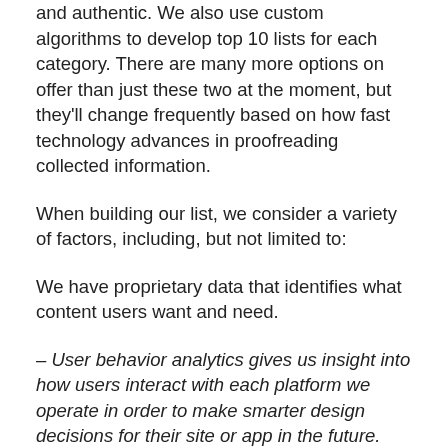and authentic. We also use custom algorithms to develop top 10 lists for each category. There are many more options on offer than just these two at the moment, but they'll change frequently based on how fast technology advances in proofreading collected information.
When building our list, we consider a variety of factors, including, but not limited to:
We have proprietary data that identifies what content users want and need.
– User behavior analytics gives us insight into how users interact with each platform we operate in order to make smarter design decisions for their site or app in the future.